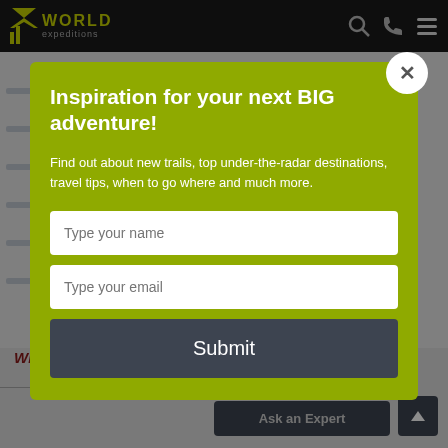World Expeditions
Inspiration for your next BIG adventure!
Find out about new trails, top under-the-radar destinations, travel tips, when to go where and much more.
Type your name
Type your email
Submit
What's not included ›
Ask an Expert